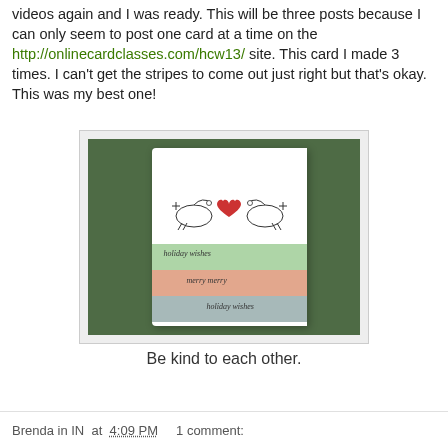videos again and I was ready. This will be three posts because I can only seem to post one card at a time on the http://onlinecardclasses.com/hcw13/ site. This card I made 3 times. I can't get the stripes to come out just right but that's okay. This was my best one!
[Figure (photo): A handmade greeting card photographed on a green background. The card is white with two stamped birds facing each other with a red heart between them. Below the birds are three horizontal colored stripes (green, orange/salmon, gray-blue) each with the text 'holiday wishes' or 'merry merry' written in cursive.]
Be kind to each other.
Brenda in IN at 4:09 PM    1 comment: